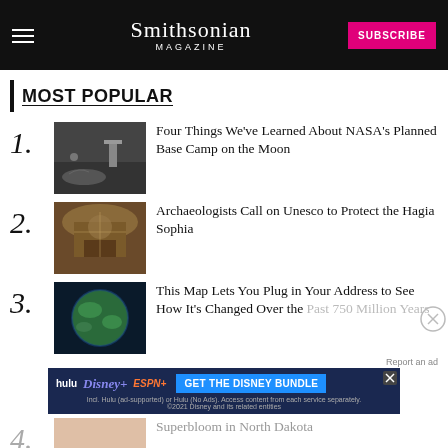Smithsonian MAGAZINE
MOST POPULAR
1. Four Things We've Learned About NASA's Planned Base Camp on the Moon
2. Archaeologists Call on Unesco to Protect the Hagia Sophia
3. This Map Lets You Plug in Your Address to See How It's Changed Over the Past 750 Million Years
[Figure (screenshot): Advertisement banner for Disney Bundle featuring Hulu, Disney+, ESPN+]
4. Superbloom in North Dakota